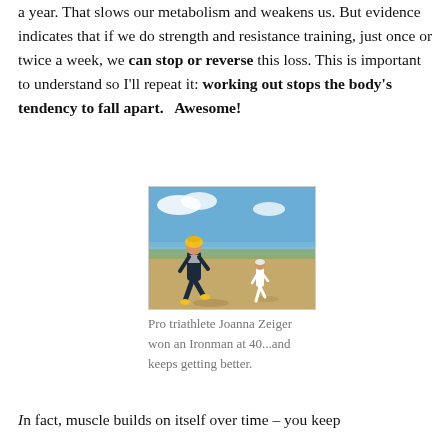a year. That slows our metabolism and weakens us. But evidence indicates that if we do strength and resistance training, just once or twice a week, we can stop or reverse this loss. This is important to understand so I'll repeat it: working out stops the body's tendency to fall apart.   Awesome!
[Figure (photo): Two runners (triathletes) running along a path near water under a blue sky. The foreground runner wears a yellow helmet and a triathlon suit.]
Pro triathlete Joanna Zeiger won an Ironman at 40...and keeps getting better.
In fact, muscle builds on itself over time – you keep